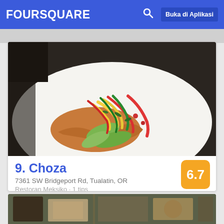FOURSQUARE | Buka di Aplikasi
[Figure (photo): Food photo of a colorful burrito bowl with shredded meat, avocado slices, and julienned red, green, and yellow bell peppers on a white plate]
9. Choza
7361 SW Bridgeport Rd, Tualatin, OR
Restoran Meksiko · 1 tips
Rosana: The burrito bowl
[Figure (photo): Partial photo of restaurant interior with dark wooden furniture]